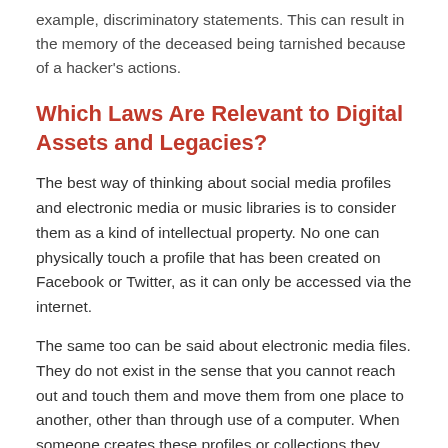example, discriminatory statements. This can result in the memory of the deceased being tarnished because of a hacker's actions.
Which Laws Are Relevant to Digital Assets and Legacies?
The best way of thinking about social media profiles and electronic media or music libraries is to consider them as a kind of intellectual property. No one can physically touch a profile that has been created on Facebook or Twitter, as it can only be accessed via the internet.
The same too can be said about electronic media files. They do not exist in the sense that you cannot reach out and touch them and move them from one place to another, other than through use of a computer. When someone creates these profiles or collections they tend to be specific to an individual.
Electronic media files and music downloads fall squarely